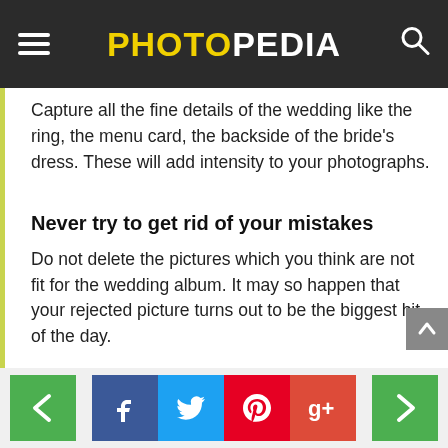PHOTOPEDIA
Capture all the fine details of the wedding like the ring, the menu card, the backside of the bride's dress. These will add intensity to your photographs.
Never try to get rid of your mistakes
Do not delete the pictures which you think are not fit for the wedding album. It may so happen that your rejected picture turns out to be the biggest hit of the day.
Navigation: previous, Facebook, Twitter, Pinterest, Google+, next